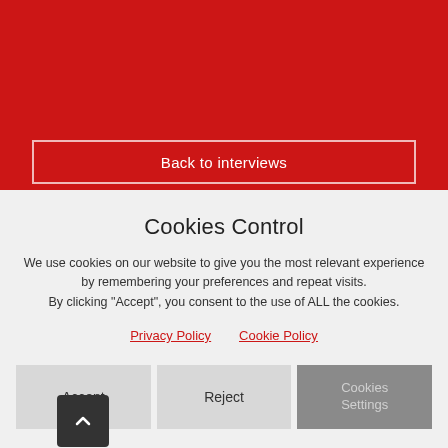[Figure (screenshot): Red banner background at the top of the page]
Back to interviews
Cookies Control
We use cookies on our website to give you the most relevant experience by remembering your preferences and repeat visits. By clicking "Accept", you consent to the use of ALL the cookies.
Privacy Policy   Cookie Policy
Accept   Reject   Cookies Settings